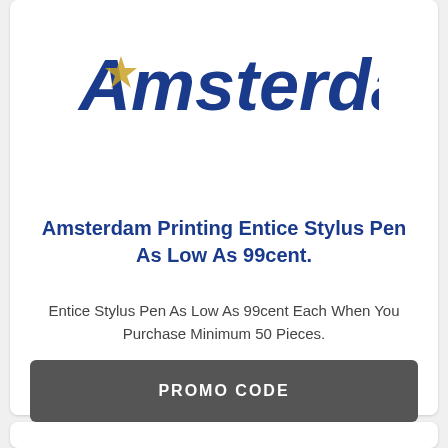[Figure (logo): Amsterdam Printing logo — italic bold dark blue text 'Amsterdam.' with a gold/yellow star accent on the letter A]
Amsterdam Printing Entice Stylus Pen As Low As 99cent.
Entice Stylus Pen As Low As 99cent Each When You Purchase Minimum 50 Pieces.
PROMO CODE